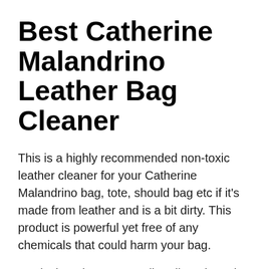Best Catherine Malandrino Leather Bag Cleaner
This is a highly recommended non-toxic leather cleaner for your Catherine Malandrino bag, tote, should bag etc if it's made from leather and is a bit dirty. This product is powerful yet free of any chemicals that could harm your bag.
It's designed to remove dirt, oil, and tough stains gently because the formula can be applied by simply rubbing. You don't have to scrub or rub. It also works on any color leather including black, white, brown, red